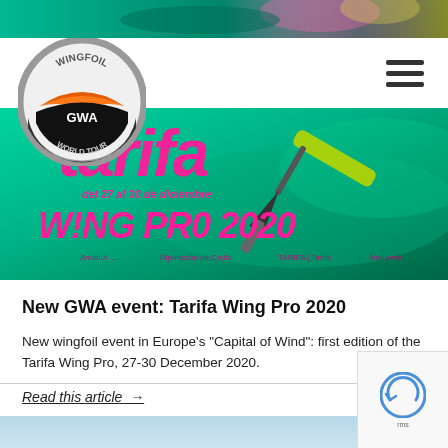[Figure (photo): Top banner with colorful wingfoil action photo background in teal/green gradient with pink and dark elements]
[Figure (logo): GWA Wingfoil World Tour circular logo with grey ring, orange wing shape, and text WINGFOIL, GWA, WORLD TOUR]
[Figure (photo): Tarifa Wing Pro 2020 event banner with teal/green background, pink bold italic text reading 'tarifa', date 'del 27 al 30 de diciembre', 'WING PRO 2020', sponsor logos at bottom, and a foil board image on right]
New GWA event: Tarifa Wing Pro 2020
New wingfoil event in Europe's "Capital of Wind": first edition of the Tarifa Wing Pro, 27-30 December 2020.
Read this article  →